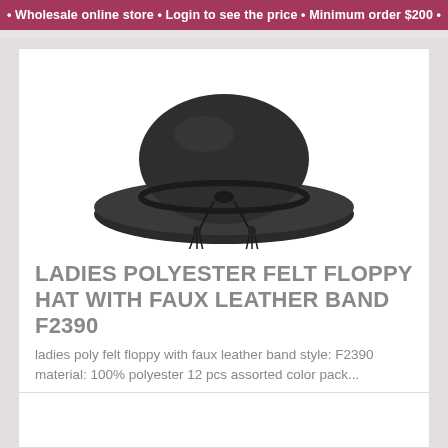• Wholesale online store • Login to see the price • Minimum order $200 •
[Figure (photo): Black ladies polyester felt floppy hat with faux leather band and tassels, viewed from above]
LADIES POLYESTER FELT FLOPPY HAT WITH FAUX LEATHER BAND F2390
ladies poly felt floppy with faux leather band style: F2390 material: 100% polyester 12 pcs assorted color pack...
$X.Xx
1
Add to Basket